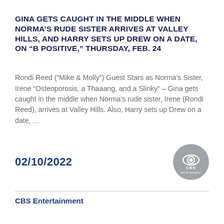GINA GETS CAUGHT IN THE MIDDLE WHEN NORMA'S RUDE SISTER ARRIVES AT VALLEY HILLS, AND HARRY SETS UP DREW ON A DATE, ON “B POSITIVE,” THURSDAY, FEB. 24
Rondi Reed (“Mike & Molly”) Guest Stars as Norma’s Sister, Irene “Osteoporosis, a Thaaang, and a Slinky” – Gina gets caught in the middle when Norma’s rude sister, Irene (Rondi Reed), arrives at Valley Hills. Also, Harry sets up Drew on a date, ...
02/10/2022
[Figure (logo): CBS Entertainment circular logo in grey]
CBS Entertainment